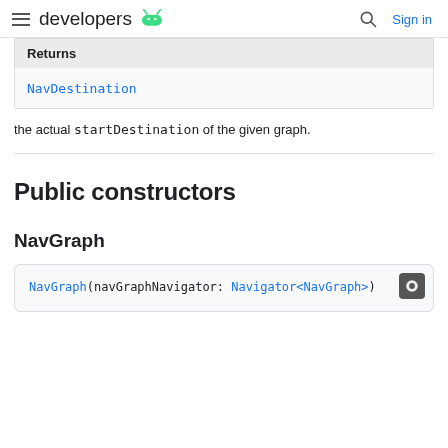developers (android logo) | Sign in
| Returns |
| --- |
| NavDestination |
the actual startDestination of the given graph.
Public constructors
NavGraph
NavGraph(navGraphNavigator: Navigator<NavGraph>)